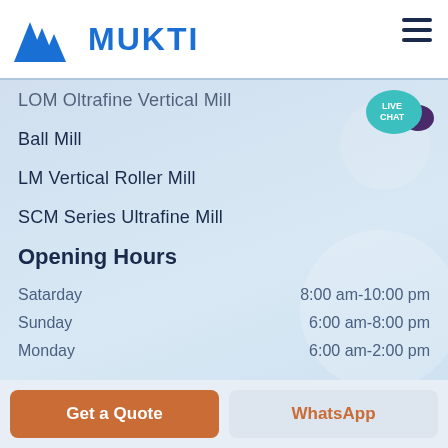[Figure (logo): Mukti company logo with blue triangular mountain shapes and blue bold text MUKTI]
LOM Oltrafine Vertical Mill
Ball Mill
LM Vertical Roller Mill
SCM Series Ultrafine Mill
Opening Hours
Satarday   8:00 am-10:00 pm
Sunday   6:00 am-8:00 pm
Monday   6:00 am-2:00 pm